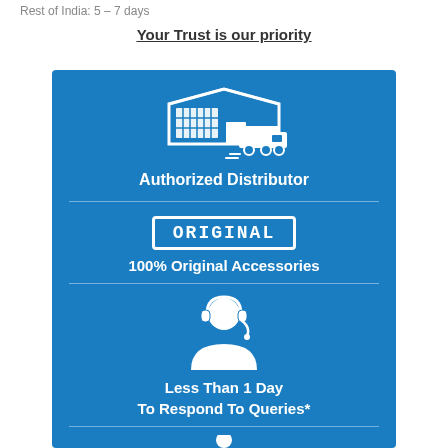Rest of India: 5 – 7 days
Your Trust is our priority
[Figure (infographic): Blue infographic box showing: Authorized Distributor (warehouse and truck icon), 100% Original Accessories (ORIGINAL stamp icon), Less Than 1 Day To Respond To Queries* (customer support agent icon), and a partially visible fourth section at the bottom.]